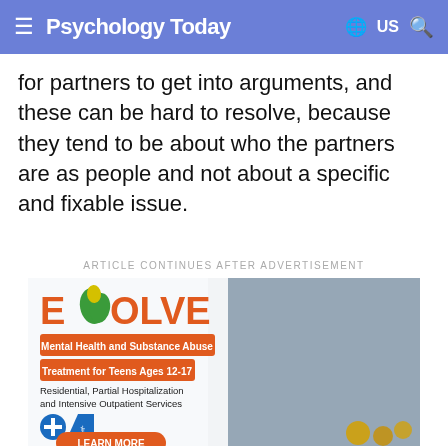Psychology Today — US
for partners to get into arguments, and these can be hard to resolve, because they tend to be about who the partners are as people and not about a specific and fixable issue.
ARTICLE CONTINUES AFTER ADVERTISEMENT
[Figure (illustration): EVOLVE advertisement — Mental Health and Substance Abuse Treatment for Teens Ages 12-17. Residential, Partial Hospitalization and Intensive Outpatient Services. Blue Cross Blue Shield logos. LEARN MORE button. Background photo of a teenage girl in a black hoodie.]